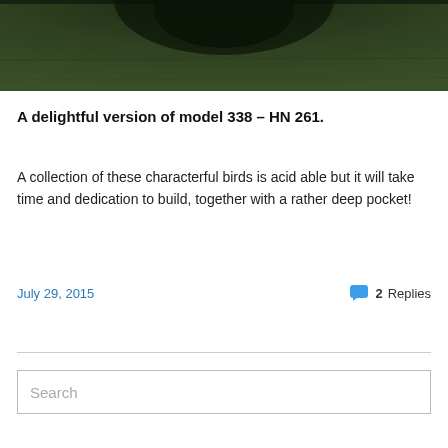[Figure (photo): Partial photo showing a dark object against a dark green background, cropped at the top of the page]
A delightful version of model 338 – HN 261.
A collection of these characterful birds is acid able but it will take time and dedication to build, together with a rather deep pocket!
July 29, 2015   2 Replies